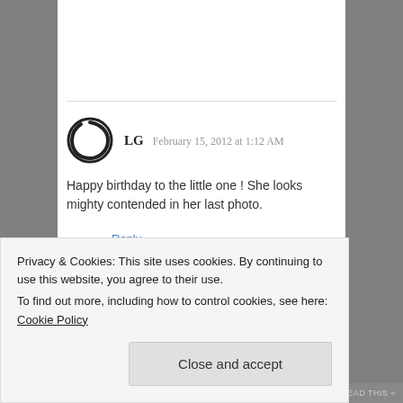LG  February 15, 2012 at 1:12 AM
Happy birthday to the little one ! She looks mighty contended in her last photo.
Reply
Pingback: FEB 15 2012 « GOM in Oklahoma's Blog
Privacy & Cookies: This site uses cookies. By continuing to use this website, you agree to their use.
To find out more, including how to control cookies, see here: Cookie Policy
Close and accept